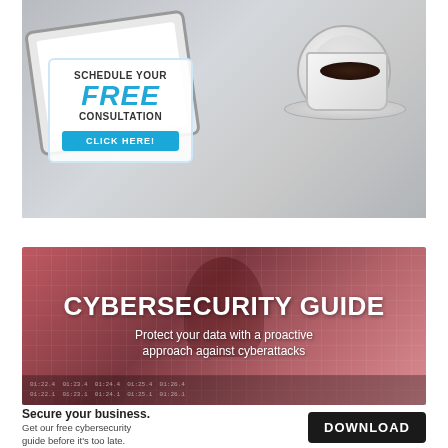[Figure (infographic): Photo of a tablet and coffee cup on a white wooden table, with an overlay box containing 'Schedule Your FREE Consultation - Click Here!' call-to-action with a cyan button]
[Figure (infographic): Cybersecurity Guide banner with dark red/pink overlay on a hacker figure background, with text 'CYBERSECURITY GUIDE - Protect your data with a proactive approach against cyberattacks']
Secure your business.
Get our free cybersecurity guide before it's too late.
DOWNLOAD